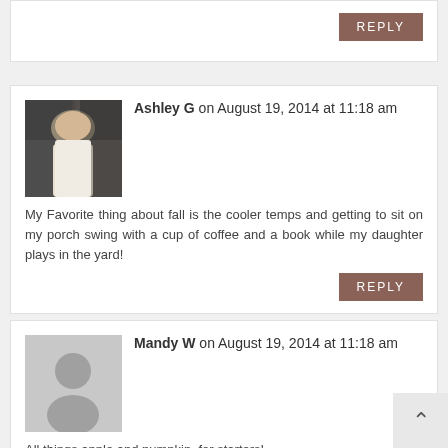[Figure (other): Partial comment card with REPLY button at top]
Ashley G on August 19, 2014 at 11:18 am
My Favorite thing about fall is the cooler temps and getting to sit on my porch swing with a cup of coffee and a book while my daughter plays in the yard!
[Figure (photo): Profile photo of Ashley G]
Mandy W on August 19, 2014 at 11:18 am
All things apple and pumpkin, for starters!
[Figure (illustration): Default grey avatar placeholder for Mandy W]